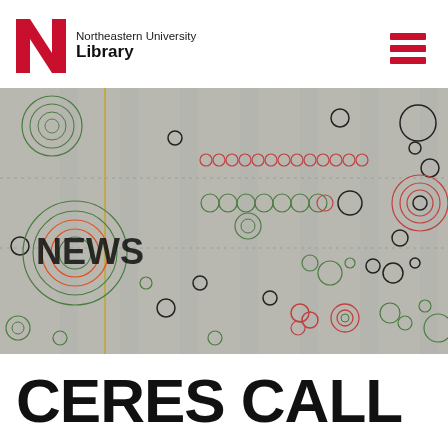Northeastern University Library
[Figure (illustration): Abstract visualization with concentric circles in green, black, and red on a grey background, with the word NEWS overlaid in bold text. Represents a data/network visualization graphic used as a hero image.]
CERES CALL